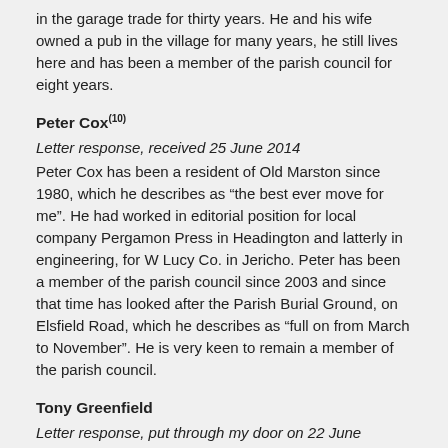in the garage trade for thirty years. He and his wife owned a pub in the village for many years, he still lives here and has been a member of the parish council for eight years.
Peter Cox(10)
Letter response, received 25 June 2014
Peter Cox has been a resident of Old Marston since 1980, which he describes as “the best ever move for me”. He had worked in editorial position for local company Pergamon Press in Headington and latterly in engineering, for W Lucy Co. in Jericho. Peter has been a member of the parish council since 2003 and since that time has looked after the Parish Burial Ground, on Elsfield Road, which he describes as “full on from March to November”. He is very keen to remain a member of the parish council.
Tony Greenfield
Letter response, put through my door on 22 June
Mr Greenfield was born in Wallingford and educated locally. He ran a successful plumbing and gas